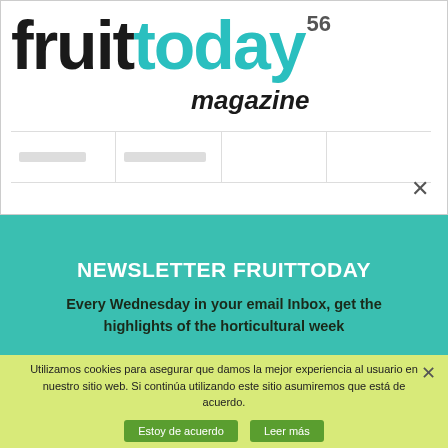[Figure (logo): Fruit Today magazine logo with black 'fruit' and teal 'today' text, plus 'magazine' in italic, and number 56]
[Figure (screenshot): Partially visible blurred navigation bar with menu items]
×
NEWSLETTER FRUITTODAY
Every Wednesday in your email Inbox, get the highlights of the horticultural week
Utilizamos cookies para asegurar que damos la mejor experiencia al usuario en nuestro sitio web. Si continúa utilizando este sitio asumiremos que está de acuerdo.
Estoy de acuerdo   Leer más